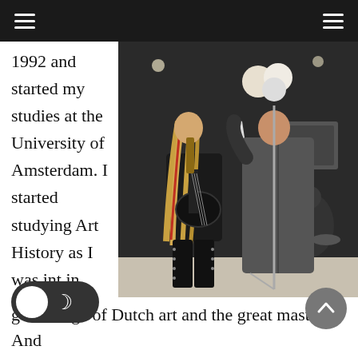1992 and started my studies at the University of Amsterdam. I started studying Art History as I was int in
[Figure (photo): Concert photo showing a guitarist with long blonde hair and a singer in a long black coat performing on stage, with a drummer visible in the background.]
golden age of Dutch art and the great masters. And